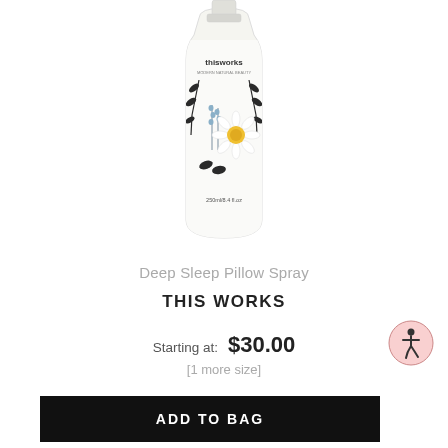[Figure (photo): Product bottle of This Works Deep Sleep Pillow Spray with floral botanical design, white bottle with black botanical illustrations and 'thisworks' branding at top]
Deep Sleep Pillow Spray
THIS WORKS
Starting at:  $30.00
[1 more size]
ADD TO BAG